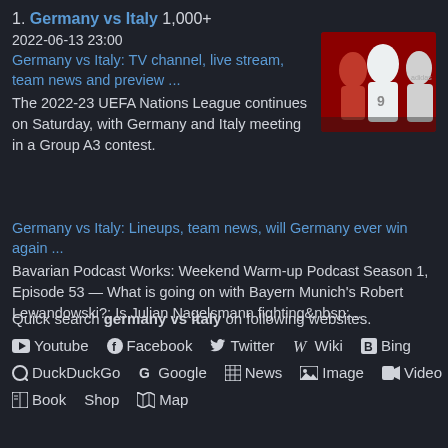1. Germany vs Italy 1,000+
2022-06-13 23:00
Germany vs Italy: TV channel, live stream, team news and preview ...
The 2022-23 UEFA Nations League continues on Saturday, with Germany and Italy meeting in a Group A3 contest.
[Figure (photo): Photo of soccer players in white and red uniforms, one wearing number 9]
Germany vs Italy: Lineups, team news, will Germany ever win again ...
Bavarian Podcast Works: Weekend Warm-up Podcast Season 1, Episode 53 — What is going on with Bayern Munich&#39;s Robert Lewandowski?; Is Julian Nagelsmann fighting&nbsp;...
Quick search germany vs italy on following websites.
Youtube  Facebook  Twitter  Wiki  Bing
DuckDuckGo  Google  News  Image  Video
Book  Shop  Map